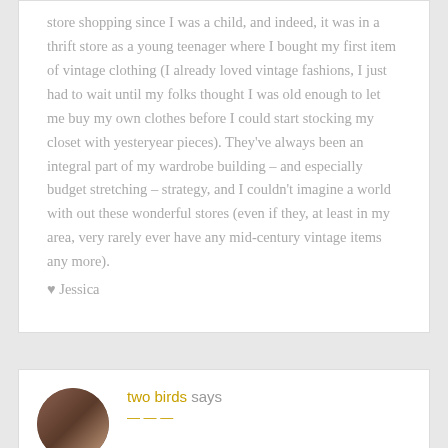store shopping since I was a child, and indeed, it was in a thrift store as a young teenager where I bought my first item of vintage clothing (I already loved vintage fashions, I just had to wait until my folks thought I was old enough to let me buy my own clothes before I could start stocking my closet with yesteryear pieces). They've always been an integral part of my wardrobe building – and especially budget stretching – strategy, and I couldn't imagine a world with out these wonderful stores (even if they, at least in my area, very rarely ever have any mid-century vintage items any more).
♥ Jessica
[Figure (photo): Circular avatar photo showing two people]
two birds says